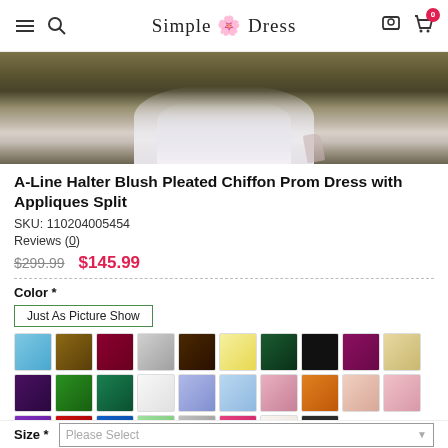Simple Dress
[Figure (photo): Bottom portion of a white/blush chiffon prom dress on a dark carpet floor with high heel shoes visible]
A-Line Halter Blush Pleated Chiffon Prom Dress with Appliques Split
SKU: 110204005454
Reviews (0)
$299.99  $145.99
Color *
Just As Picture Show
Size *  Please Select